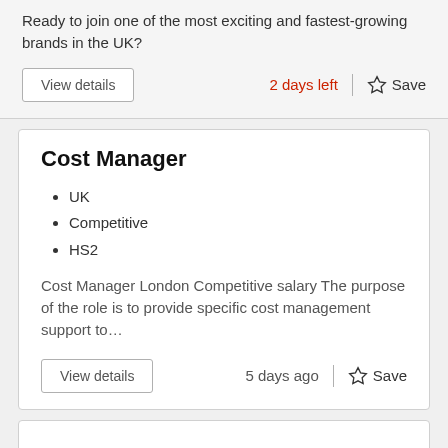Ready to join one of the most exciting and fastest-growing brands in the UK?
View details
2 days left
Save
Cost Manager
UK
Competitive
HS2
Cost Manager London Competitive salary The purpose of the role is to provide specific cost management support to…
View details
5 days ago
Save